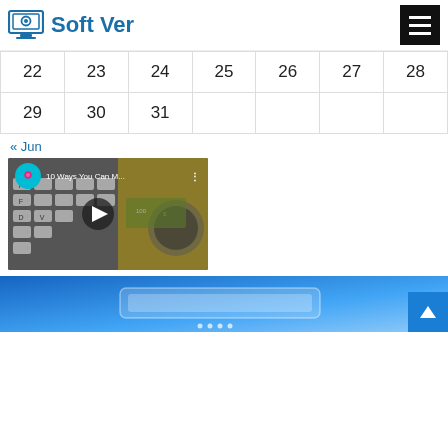Soft Ver
| 22 | 23 | 24 | 25 | 26 | 27 | 28 |
| 29 | 30 | 31 |  |  |  |  |
« Jun
[Figure (screenshot): YouTube video thumbnail showing keyboard and money with title '10 Ways You Can M...' and a play button overlay]
[Figure (photo): Blue-toned photo of a laptop or device, partially visible at bottom of page with a scroll-to-top button]